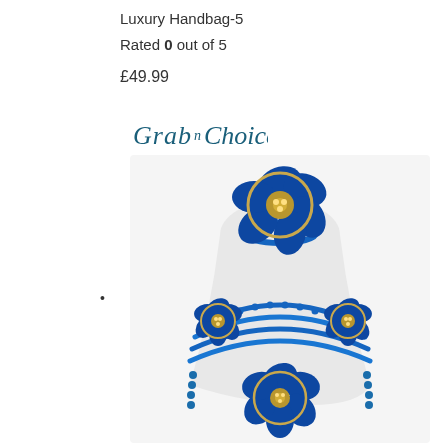Luxury Handbag-5
Rated 0 out of 5
£49.99
[Figure (logo): Grab n Choice cursive script logo in dark teal/navy color]
•
[Figure (photo): Blue beaded jewelry set with large flower brooches including necklace, bracelet/ring, and earrings displayed on a white mannequin bust. The beads are royal blue and the flowers are navy blue enamel with gold trim and crystal centers.]